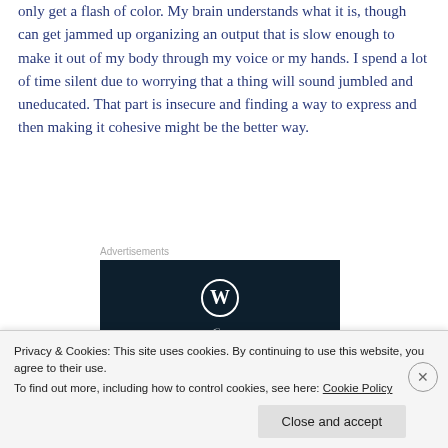only get a flash of color. My brain understands what it is, though can get jammed up organizing an output that is slow enough to make it out of my body through my voice or my hands. I spend a lot of time silent due to worrying that a thing will sound jumbled and uneducated. That part is insecure and finding a way to express and then making it cohesive might be the better way.
[Figure (other): Advertisement box with dark navy background, WordPress logo (circle W) in top right, and partial italic text at bottom.]
Privacy & Cookies: This site uses cookies. By continuing to use this website, you agree to their use.
To find out more, including how to control cookies, see here: Cookie Policy